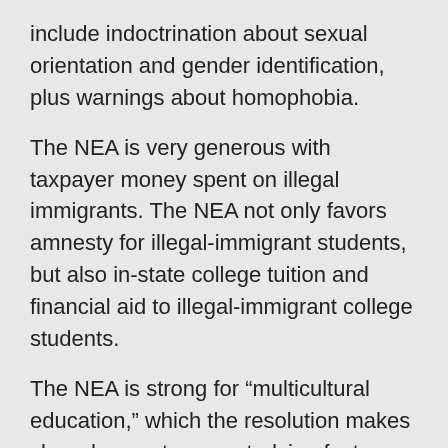include indoctrination about sexual orientation and gender identification, plus warnings about homophobia.
The NEA is very generous with taxpayer money spent on illegal immigrants. The NEA not only favors amnesty for illegal-immigrant students, but also in-state college tuition and financial aid to illegal-immigrant college students.
The NEA is strong for “multicultural education,” which the resolution makes clear does not mean studying facts about different countries and cultures. It means “the process of incorporating the values” and influencing “behavior” toward the NEA’s version of “the common good,” such as “reducing homophobia.”
Of course, the NEA supports “global education” to